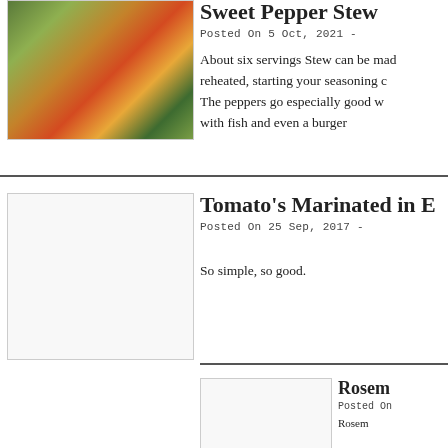[Figure (photo): Food photo showing green olives and colorful peppers on a white plate]
Sweet Pepper Stew
Posted On 5 Oct, 2021 -
About six servings Stew can be made reheated, starting your seasoning. The peppers go especially good with fish and even a burger
[Figure (photo): Blank/white placeholder image for Tomato's Marinated article]
Tomato’s Marinated in E…
Posted On 25 Sep, 2017 -
So simple, so good.
[Figure (photo): Blank/white placeholder image for Rosem... article]
Rosem…
Posted On…
Rosem…